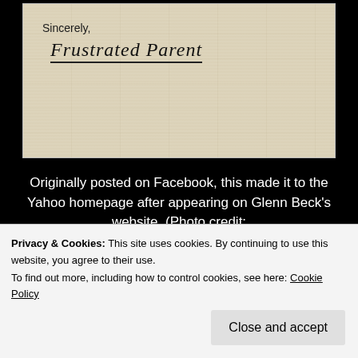[Figure (photo): Photo of handwritten letter closing showing 'Sincerely,' followed by handwritten signature 'Frustrated Parent' on aged/yellowed paper background]
Originally posted on Facebook, this made it to the Yahoo homepage after appearing on Glenn Beck's website. (Photo credit: https://www.facebook.com/PatriotPost/photos/a.821...type=1&stream_ref=10 )
Privacy & Cookies: This site uses cookies. By continuing to use this website, you agree to their use.
To find out more, including how to control cookies, see here: Cookie Policy
Close and accept